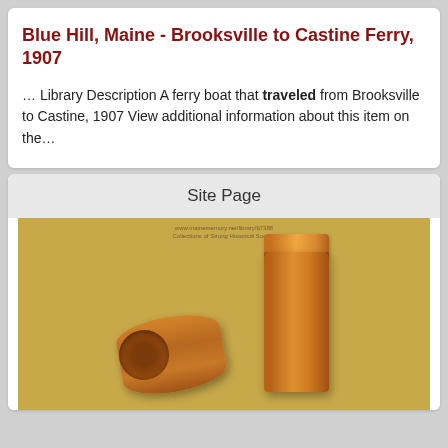Blue Hill, Maine - Brooksville to Castine Ferry, 1907
… Library Description A ferry boat that traveled from Brooksville to Castine, 1907 View additional information about this item on the…
Site Page
[Figure (photo): Photograph of two wooden cylindrical containers/tubes on a tan/beige background, with watermark text reading 'www.mainememory.net/library/67388 Collections of Strong Historical Society']